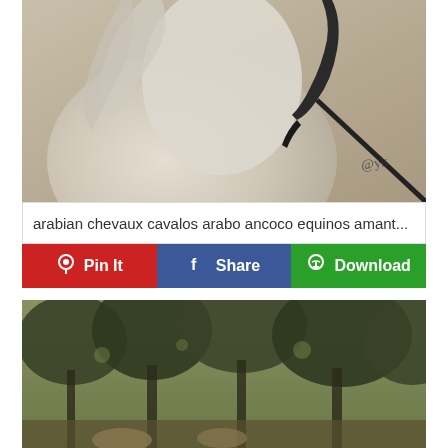[Figure (photo): Close-up photo of a white Arabian horse with flowing mane, wearing a dark halter/bridle, with a photographer's watermark signature in the lower right corner.]
arabian chevaux cavalos arabo ancoco equinos amant...
[Figure (other): Three social sharing/action buttons: red 'Pin It' button with Pinterest logo, blue 'Share' button with Facebook logo, and green 'Download' button with download icon.]
[Figure (photo): Outdoor photo showing horses in a wooded/treed landscape setting with a warm vintage-toned color grading.]